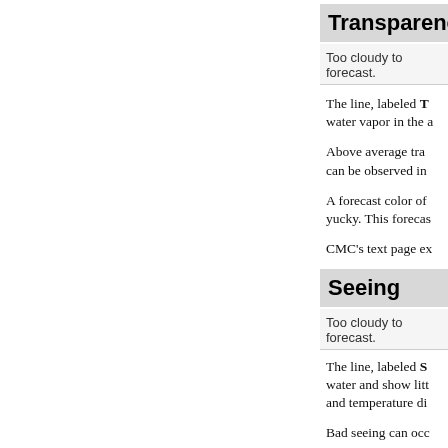Transparency
Too cloudy to forecast.
The line, labeled T... water vapor in the a...
Above average tra... can be observed in...
A forecast color of... yucky. This forecas...
CMC's text page ex...
Seeing
Too cloudy to forecast.
The line, labeled S... water and show litt... and temperature di...
Bad seeing can occ...